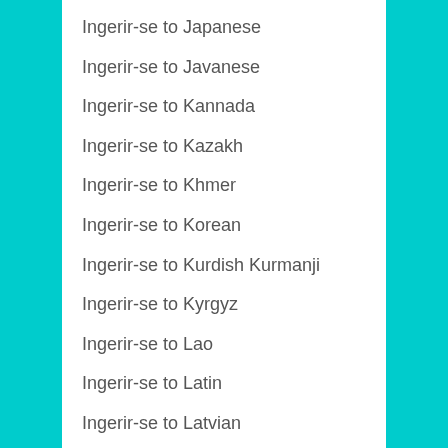Ingerir-se to Japanese
Ingerir-se to Javanese
Ingerir-se to Kannada
Ingerir-se to Kazakh
Ingerir-se to Khmer
Ingerir-se to Korean
Ingerir-se to Kurdish Kurmanji
Ingerir-se to Kyrgyz
Ingerir-se to Lao
Ingerir-se to Latin
Ingerir-se to Latvian
Ingerir-se to Lithuanian
Ingerir-se to Luxembourgish
Ingerir-se to Macedonian